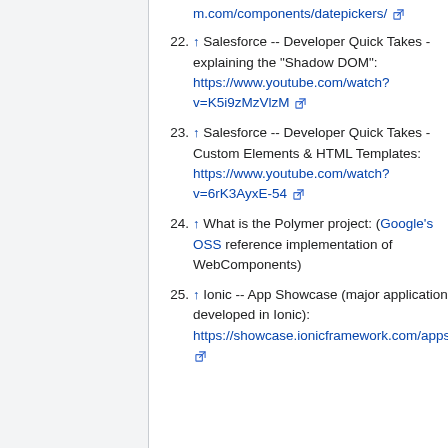m.com/components/datepickers/ [external link]
22. ↑ Salesforce -- Developer Quick Takes - explaining the "Shadow DOM": https://www.youtube.com/watch?v=K5i9zMzVlzM [external link]
23. ↑ Salesforce -- Developer Quick Takes - Custom Elements & HTML Templates: https://www.youtube.com/watch?v=6rK3AyxE-54 [external link]
24. ↑ What is the Polymer project: (Google's OSS reference implementation of WebComponents)
25. ↑ Ionic -- App Showcase (major applications developed in Ionic): https://showcase.ionicframework.com/apps/top [external link]